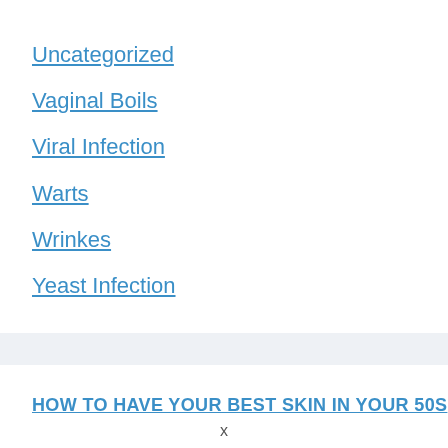Uncategorized
Vaginal Boils
Viral Infection
Warts
Wrinkes
Yeast Infection
HOW TO HAVE YOUR BEST SKIN IN YOUR 50S
×